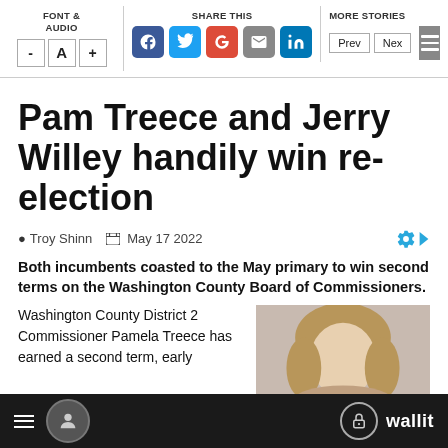FONT & AUDIO | SHARE THIS | MORE STORIES
Pam Treece and Jerry Willey handily win re-election
Troy Shinn  May 17 2022
Both incumbents coasted to the May primary to win second terms on the Washington County Board of Commissioners.
Washington County District 2 Commissioner Pamela Treece has earned a second term, early
[Figure (photo): Portrait photo of a woman with long blonde hair]
wallit